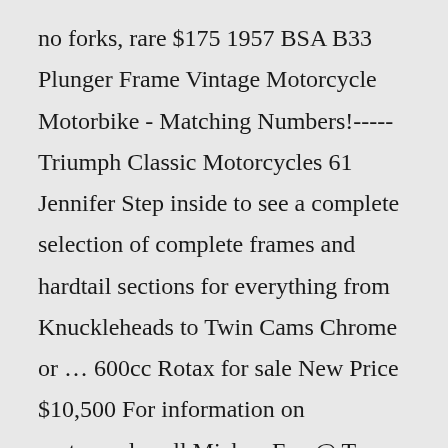no forks, rare $175 1957 BSA B33 Plunger Frame Vintage Motorcycle Motorbike - Matching Numbers!----- Triumph Classic Motorcycles 61 Jennifer Step inside to see a complete selection of complete frames and hardtail sections for everything from Knuckleheads to Twin Cams Chrome or … 600cc Rotax for sale New Price $10,500 For information on motorcycle call Mickey Fay @ Two Five Three 442-4263 May 13